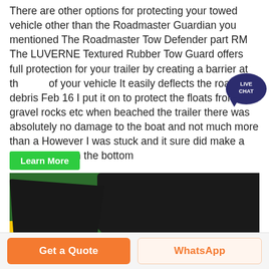There are other options for protecting your towed vehicle other than the Roadmaster Guardian you mentioned The Roadmaster Tow Defender part RM The LUVERNE Textured Rubber Tow Guard offers full protection for your trailer by creating a barrier at the rear of your vehicle It easily deflects the road debris Feb 16 I put it on to protect the floats from gravel rocks etc when beached the trailer there was absolutely no damage to the boat and not much more than a However I was stuck and it sure did make a nasty sound on the bottom
[Figure (other): Live chat speech bubble icon in dark navy blue with 'LIVE CHAT' text in white]
[Figure (other): Green 'Learn More' button]
[Figure (photo): Close-up photograph of green agricultural or industrial machinery with black rubber components, metal brackets, and green structural parts]
Get a Quote
WhatsApp